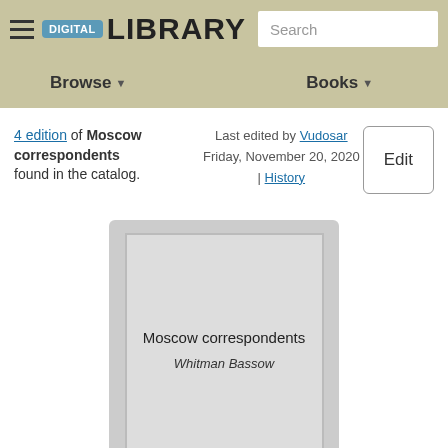DIGITAL LIBRARY | Search | Browse | Books
4 edition of Moscow correspondents found in the catalog.
Last edited by Vudosar
Friday, November 20, 2020 | History
Edit
[Figure (illustration): Book cover placeholder card showing title 'Moscow correspondents' and author 'Whitman Bassow' on a grey background card.]